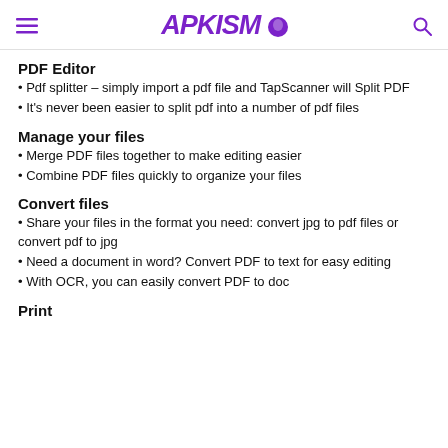APKISM
PDF Editor
• Pdf splitter – simply import a pdf file and TapScanner will Split PDF
• It's never been easier to split pdf into a number of pdf files
Manage your files
• Merge PDF files together to make editing easier
• Combine PDF files quickly to organize your files
Convert files
• Share your files in the format you need: convert jpg to pdf files or convert pdf to jpg
• Need a document in word? Convert PDF to text for easy editing
• With OCR, you can easily convert PDF to doc
Print